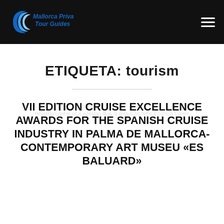[Figure (logo): Mallorca Private Tour Guides logo with crescent/wave shape in blue and white text on dark background]
ETIQUETA: tourism
VII EDITION CRUISE EXCELLENCE AWARDS FOR THE SPANISH CRUISE INDUSTRY IN PALMA DE MALLORCA-CONTEMPORARY ART MUSEU «ES BALUARD»